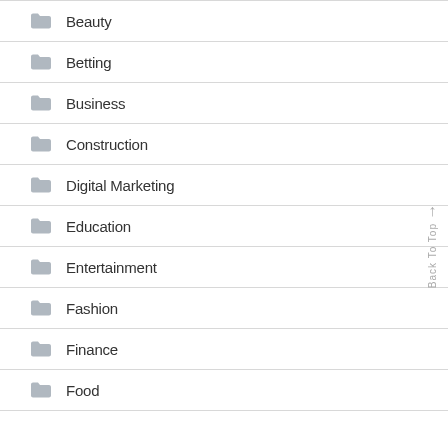Beauty
Betting
Business
Construction
Digital Marketing
Education
Entertainment
Fashion
Finance
Food